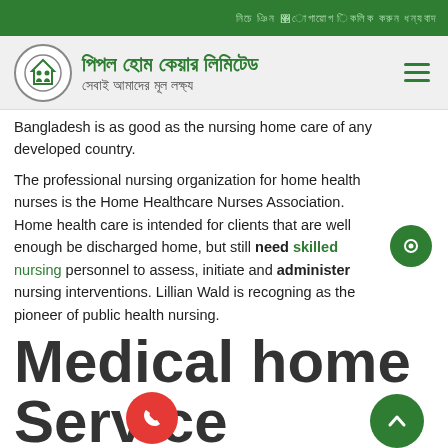পিপল হোম কেয়ার লিমিটেড — সেবাই আমাদের মূল লক্ষ্য
Bangladesh is as good as the nursing home care of any developed country.
The professional nursing organization for home health nurses is the Home Healthcare Nurses Association. Home health care is intended for clients that are well enough be discharged home, but still need skilled nursing personnel to assess, initiate and administer nursing interventions. Lillian Wald is recogning as the pioneer of public health nursing.
Medical home Service